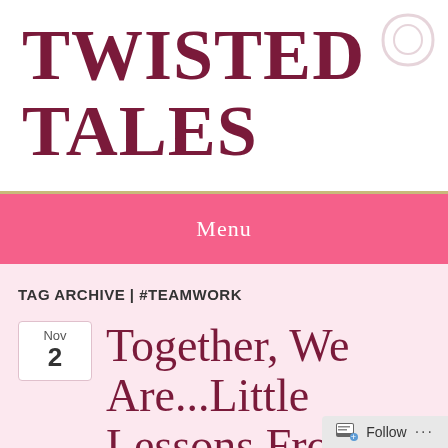TWISTED TALES
Menu
TAG ARCHIVE | #TEAMWORK
Nov 2
Together, We Are...Little Lessons From